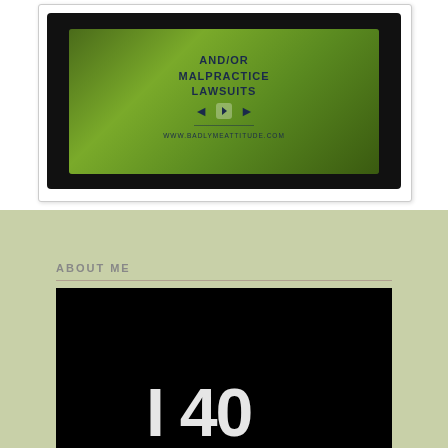[Figure (screenshot): Video thumbnail showing text AND/OR MALPRACTICE LAWSUITS with arrows and URL www.badlymeattitude.com on a green bokeh background, displayed inside a black tablet/monitor frame]
ABOUT ME
[Figure (photo): Dark/black photo showing partial white text or numbers at the bottom, partially visible, appears to show age-related numbers]